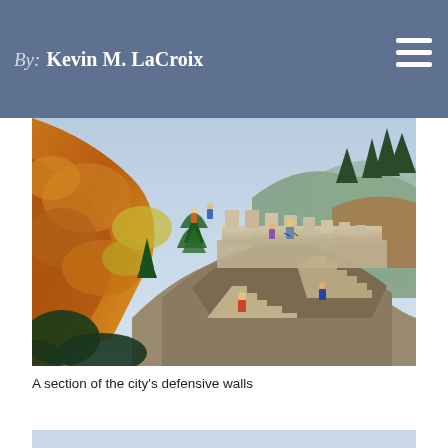By: Kevin M. LaCroix
[Figure (photo): A section of an ancient city defensive wall built on rocky terrain. Stone steps and battlements run along a mountain ridge, with autumn-colored foliage in orange and red on the left, green pine trees, and a city visible in the hazy background to the right. Hikers are visible on the steps.]
A section of the city’s defensive walls